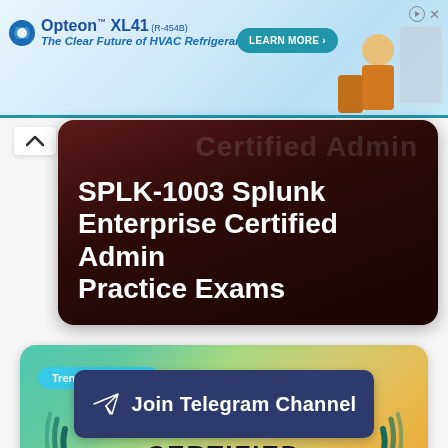[Figure (screenshot): Advertisement banner for Opteon XL41 (R-454B) HVAC refrigerant with Learn More button and worker illustration]
SPLK-1003 Splunk Enterprise Certified Admin Practice Exams
[Figure (illustration): Trending Courses card showing Cisco Certified logo with teal and orange gradient background]
Join Telegram Channel